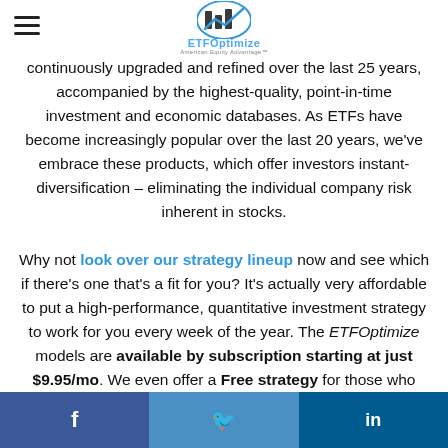ETFOptimize logo and hamburger menu
continuously upgraded and refined over the last 25 years, accompanied by the highest-quality, point-in-time investment and economic databases. As ETFs have become increasingly popular over the last 20 years, we've embrace these products, which offer investors instant-diversification – eliminating the individual company risk inherent in stocks.

Why not look over our strategy lineup now and see which if there's one that's a fit for you? It's actually very affordable to put a high-performance, quantitative investment strategy to work for you every week of the year. The ETFOptimize models are available by subscription starting at just $9.95/mo. We even offer a Free strategy for those who would like a long-term, 90-day trial before subscribing (with no credit-card required).
Facebook | Twitter | LinkedIn share buttons